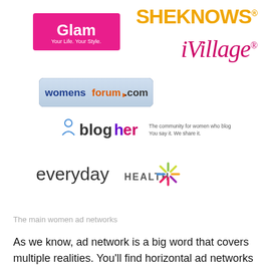[Figure (logo): Glam - Your Life. Your Style. logo (pink rectangle with white text)]
[Figure (logo): SHEKNOWS logo in orange bold text]
[Figure (logo): iVillage logo in pink italic serif text]
[Figure (logo): womensforums.com logo in a light blue/grey rounded rectangle]
[Figure (logo): BlogHer logo with tagline: The community for women who blog / You say it. We share it.]
[Figure (logo): everyday HEALTH logo with colorful asterisk/starburst graphic]
The main women ad networks
As we know, ad network is a big word that covers multiple realities. You'll find horizontal ad networks (scale and